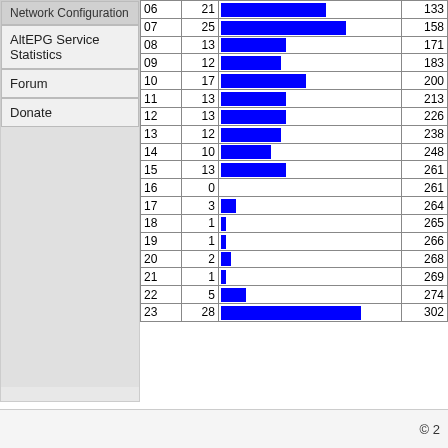Network Configuration
AltEPG Service Statistics
Forum
Donate
[Figure (bar-chart): Hourly statistics]
2017.02.06 2017.02.08 Lineup Stats
Statistics gathered: 2017-03-09 23:15:04
© 2